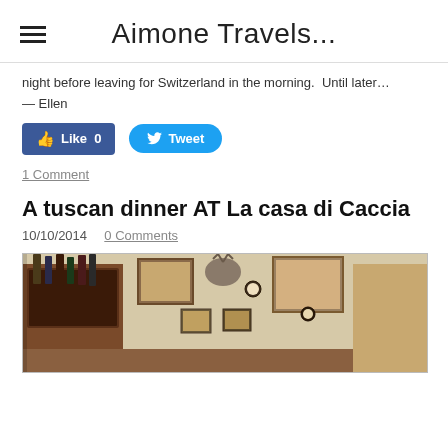Aimone Travels...
night before leaving for Switzerland in the morning. Until later... – Ellen
[Figure (other): Facebook Like button (Like 0) and Twitter Tweet button]
1 Comment
A tuscan dinner AT La casa di Caccia
10/10/2014  0 Comments
[Figure (photo): Interior of La casa di Caccia restaurant showing wine cabinet, decorative items on walls including mounted deer head, paintings, clocks, and ornate wall decorations]